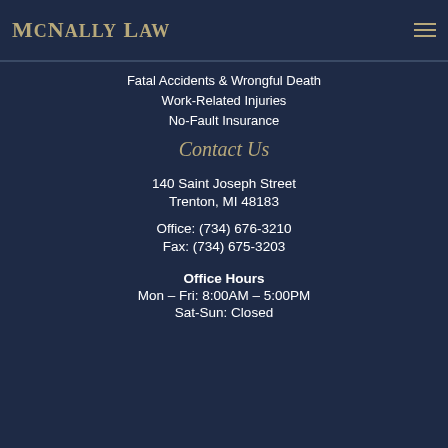McNally Law
Fatal Accidents & Wrongful Death
Work-Related Injuries
No-Fault Insurance
Contact Us
140 Saint Joseph Street
Trenton, MI 48183
Office: (734) 676-3210
Fax: (734) 675-3203
Office Hours
Mon – Fri: 8:00AM – 5:00PM
Sat-Sun: Closed